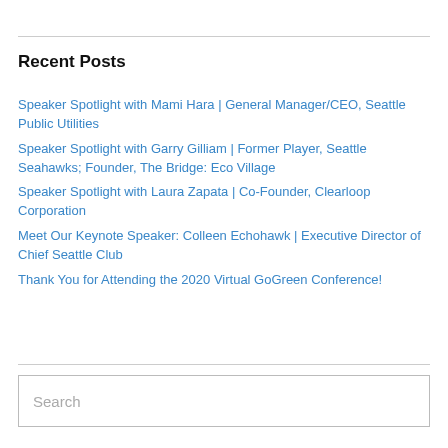Recent Posts
Speaker Spotlight with Mami Hara | General Manager/CEO, Seattle Public Utilities
Speaker Spotlight with Garry Gilliam | Former Player, Seattle Seahawks; Founder, The Bridge: Eco Village
Speaker Spotlight with Laura Zapata | Co-Founder, Clearloop Corporation
Meet Our Keynote Speaker: Colleen Echohawk | Executive Director of Chief Seattle Club
Thank You for Attending the 2020 Virtual GoGreen Conference!
Search